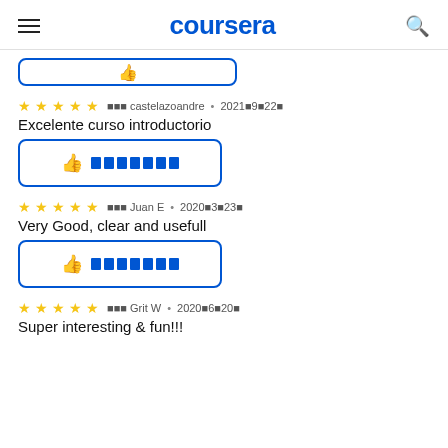coursera
[Figure (other): Partial blue-bordered button visible at top, cut off]
⬛⬛⬛ castelazoandre • 2021⬛9⬛22⬛ — 5 stars — Excelente curso introductorio
Excelente curso introductorio
[Figure (other): Helpful thumbs-up button with blue border and blue squares representing text]
⬛⬛⬛ Juan E • 2020⬛3⬛23⬛ — 5 stars — Very Good, clear and usefull
Very Good, clear and usefull
[Figure (other): Helpful thumbs-up button with blue border and blue squares representing text]
⬛⬛⬛ Grit W • 2020⬛6⬛20⬛ — 5 stars — Super interesting & fun!!!
Super interesting & fun!!!